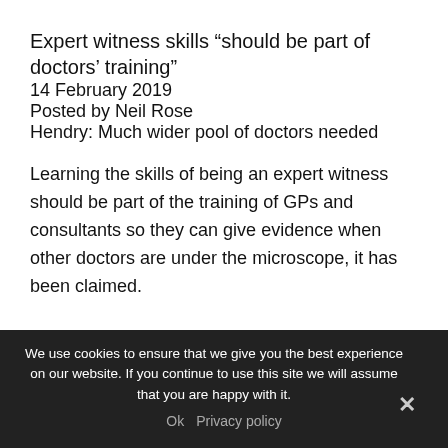Expert witness skills “should be part of doctors’ training”
14 February 2019
Posted by Neil Rose
Hendry: Much wider pool of doctors needed
Learning the skills of being an expert witness should be part of the training of GPs and consultants so they can give evidence when other doctors are under the microscope, it has been claimed.
We use cookies to ensure that we give you the best experience on our website. If you continue to use this site we will assume that you are happy with it. Ok  Privacy policy